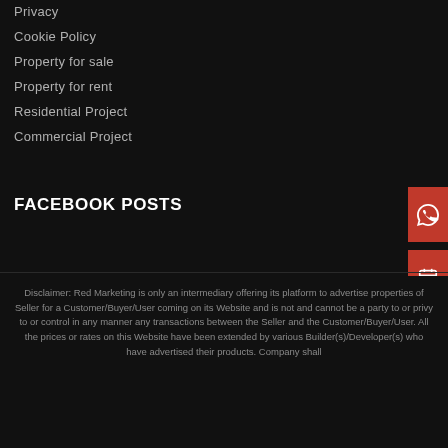Privacy
Cookie Policy
Property for sale
Property for rent
Residential Project
Commercial Project
FACEBOOK POSTS
Disclaimer: Red Marketing is only an intermediary offering its platform to advertise properties of Seller for a Customer/Buyer/User coming on its Website and is not and cannot be a party to or privy to or control in any manner any transactions between the Seller and the Customer/Buyer/User. All the prices or rates on this Website have been extended by various Builder(s)/Developer(s) who have advertised their products. Company shall